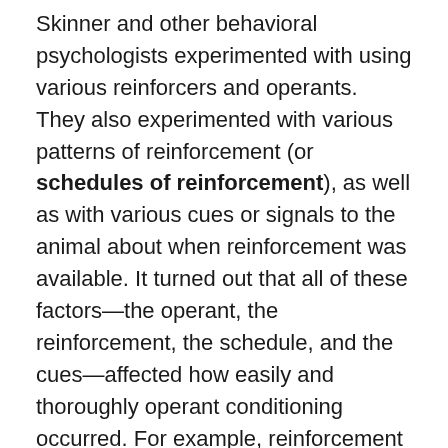Skinner and other behavioral psychologists experimented with using various reinforcers and operants. They also experimented with various patterns of reinforcement (or schedules of reinforcement), as well as with various cues or signals to the animal about when reinforcement was available. It turned out that all of these factors—the operant, the reinforcement, the schedule, and the cues—affected how easily and thoroughly operant conditioning occurred. For example, reinforcement was more effective if it came immediately after the crucial operant behavior, rather than being delayed, and reinforcements that happened intermittently (only part of the time) caused learning to take longer, but also caused it to last longer.
Operant Conditioning and Students' Learning
As with respondent conditioning, it is important to ask whether operant conditioning also describes learning in